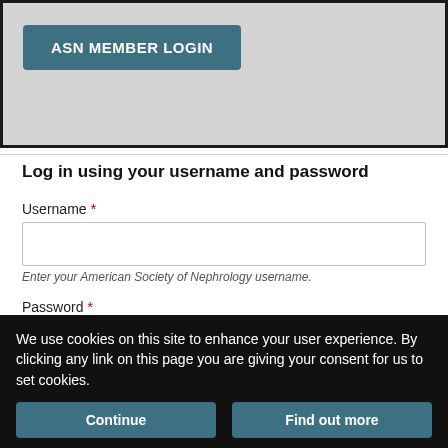[Figure (screenshot): ASN Member Login button on a grey background with dark border]
Log in using your username and password
Username *
Enter your American Society of Nephrology username.
Password *
Enter the password that accompanies your username.
Log in
Forgot your user name or password?
We use cookies on this site to enhance your user experience. By clicking any link on this page you are giving your consent for us to set cookies.
Continue
Find out more